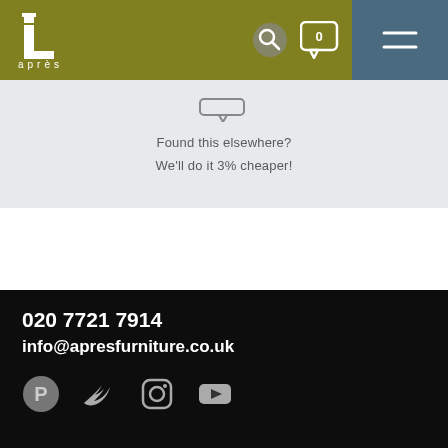[Figure (logo): Après furniture logo — white stylized '1' mark with 'après' text below, on olive green header background]
[Figure (screenshot): Navigation icons: search magnifier, chat bubble with '0', hamburger menu on slate blue background]
Found this elsewhere?
We'll do it 3% cheaper!
020 7721 7914
info@apresfurniture.co.uk
[Pinterest] [Twitter] [Instagram] [YouTube]